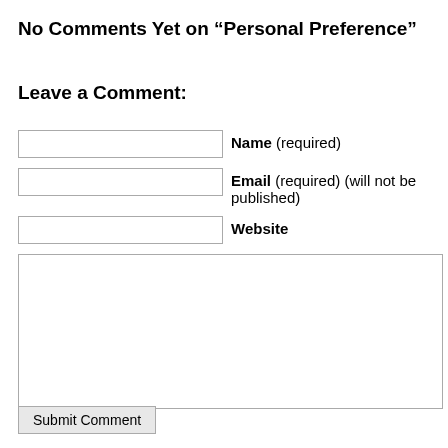No Comments Yet on “Personal Preference”
Leave a Comment:
Name (required)
Email (required) (will not be published)
Website
Submit Comment